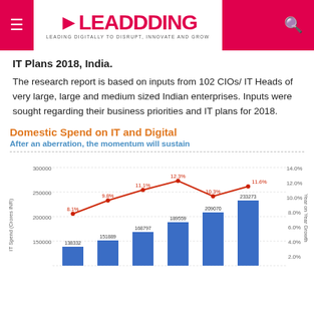LEADDDING - LEADING DIGITALLY TO DISRUPT, INNOVATE AND GROW
IT Plans 2018, India.
The research report is based on inputs from 102 CIOs/ IT Heads of very large, large and medium sized Indian enterprises. Inputs were sought regarding their business priorities and IT plans for 2018.
[Figure (grouped-bar-chart): Domestic Spend on IT and Digital]